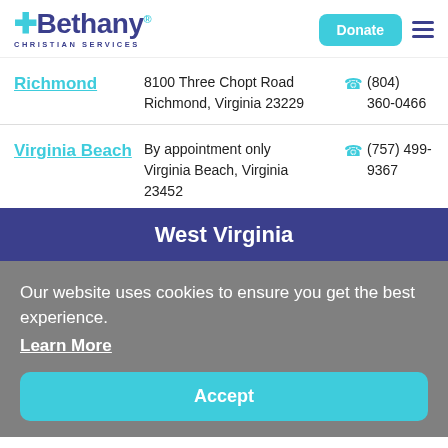[Figure (logo): Bethany Christian Services logo with blue cross symbol and teal/navy text]
Richmond
8100 Three Chopt Road Richmond, Virginia 23229
(804) 360-0466
Virginia Beach
By appointment only Virginia Beach, Virginia 23452
(757) 499-9367
West Virginia
Our website uses cookies to ensure you get the best experience.
Learn More
Accept